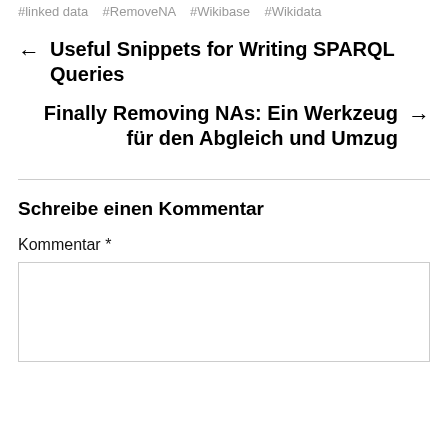#linked data  #RemoveNA  #Wikibase  #Wikidata
← Useful Snippets for Writing SPARQL Queries
Finally Removing NAs: Ein Werkzeug für den Abgleich und Umzug →
Schreibe einen Kommentar
Kommentar *